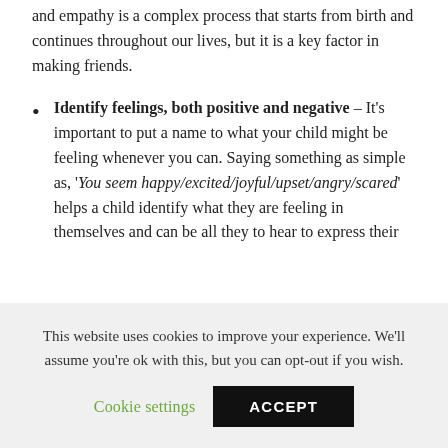and empathy is a complex process that starts from birth and continues throughout our lives, but it is a key factor in making friends.
Identify feelings, both positive and negative – It's important to put a name to what your child might be feeling whenever you can. Saying something as simple as, 'You seem happy/excited/joyful/upset/angry/scared' helps a child identify what they are feeling in themselves and can be all they to hear to express their
This website uses cookies to improve your experience. We'll assume you're ok with this, but you can opt-out if you wish.